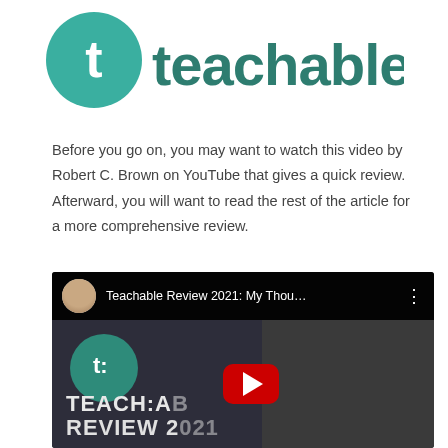[Figure (logo): Teachable logo: teal circle with white 't' letter followed by 'teachable' text in dark teal]
Before you go on, you may want to watch this video by Robert C. Brown on YouTube that gives a quick review. Afterward, you will want to read the rest of the article for a more comprehensive review.
[Figure (screenshot): YouTube video embed preview showing 'Teachable Review 2021: My Thou...' with a thumbnail of a man's face, Teachable teal circle logo, and text 'TEACH:A REVIEW 2021' with YouTube play button]